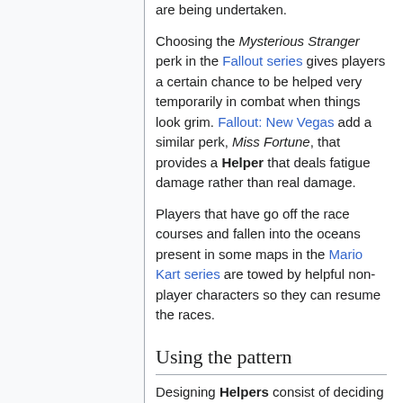are being undertaken.
Choosing the Mysterious Stranger perk in the Fallout series gives players a certain chance to be helped very temporarily in combat when things look grim. Fallout: New Vegas add a similar perk, Miss Fortune, that provides a Helper that deals fatigue damage rather than real damage.
Players that have go off the race courses and fallen into the oceans present in some maps in the Mario Kart series are towed by helpful non-player characters so they can resume the races.
Using the pattern
Designing Helpers consist of deciding on what type of Non-Player Characters the Helpers should be and what type of helpers should be provided. The...